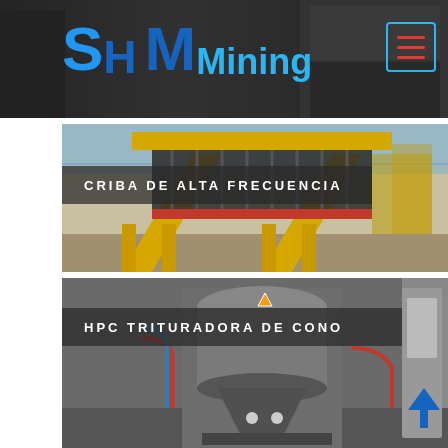SH MMining
[Figure (photo): Yellow high-frequency vibrating screen machine (Criba de Alta Frecuencia) in an industrial warehouse setting]
CRIBA DE ALTA FRECUENCIA
[Figure (photo): HPC cone crusher machine in an industrial setting with grey equipment and piping]
HPC TRITURADORA DE CONO